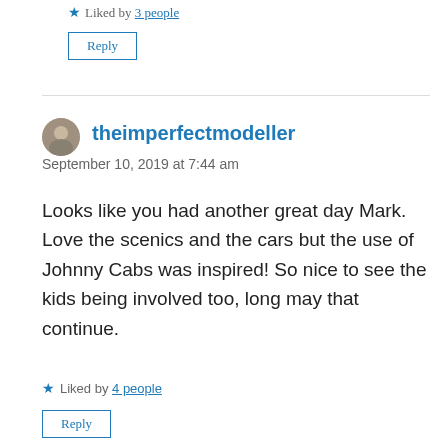Liked by 3 people
Reply
theimperfectmodeller
September 10, 2019 at 7:44 am
Looks like you had another great day Mark. Love the scenics and the cars but the use of Johnny Cabs was inspired! So nice to see the kids being involved too, long may that continue.
Liked by 4 people
Reply